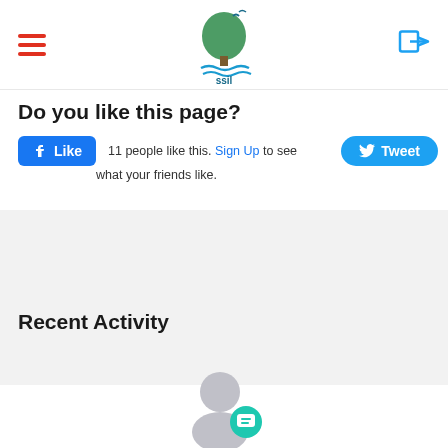[Figure (logo): SSJL organization logo with green tree/bird design and text 'ssjl']
Do you like this page?
[Figure (screenshot): Facebook Like button showing '11 people like this. Sign Up to see what your friends like.' and a Twitter Tweet button]
Recent Activity
[Figure (illustration): Gray user silhouette avatar with a teal comment icon badge]